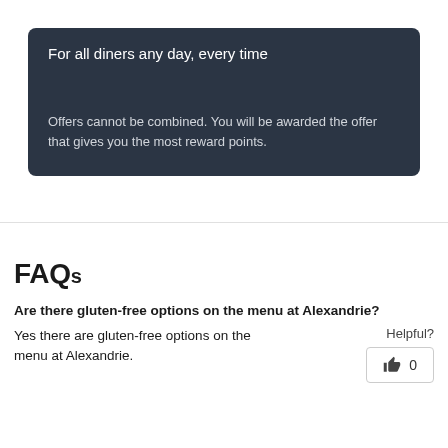For all diners any day, every time
Offers cannot be combined. You will be awarded the offer that gives you the most reward points.
FAQs
Are there gluten-free options on the menu at Alexandrie?
Yes there are gluten-free options on the menu at Alexandrie.
Helpful? 👍 0